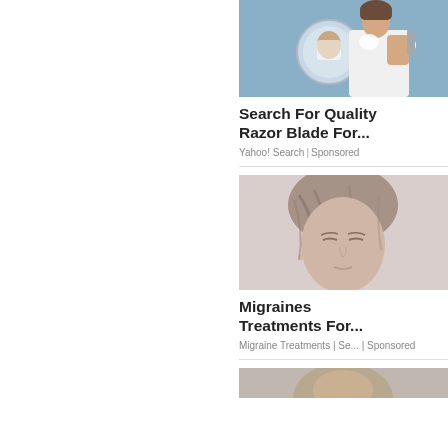[Figure (photo): Man shaving in front of a bathroom mirror, wearing a white robe]
Search For Quality Razor Blade For...
Yahoo! Search | Sponsored
[Figure (photo): Woman with eyes closed, appearing to have a headache or migraine, hair across face]
Migraines Treatments For...
Migraine Treatments | Se... | Sponsored
[Figure (photo): Partial photo of a third advertisement card at the bottom]